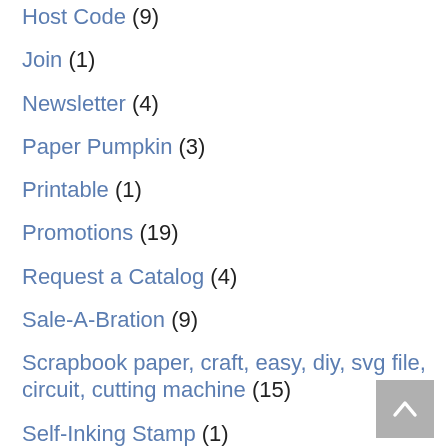Host Code (9)
Join (1)
Newsletter (4)
Paper Pumpkin (3)
Printable (1)
Promotions (19)
Request a Catalog (4)
Sale-A-Bration (9)
Scrapbook paper, craft, easy, diy, svg file, circuit, cutting machine (15)
Self-Inking Stamp (1)
Shopper Rewards (3)
Swatch Look Book (2)